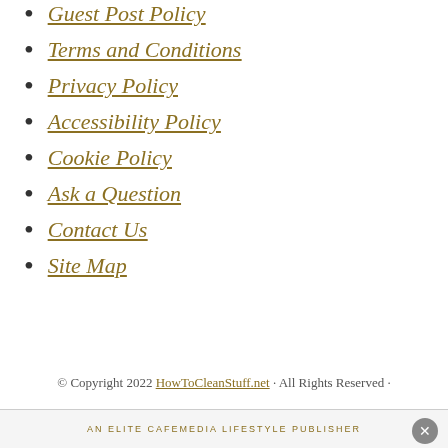Guest Post Policy
Terms and Conditions
Privacy Policy
Accessibility Policy
Cookie Policy
Ask a Question
Contact Us
Site Map
© Copyright 2022 HowToCleanStuff.net · All Rights Reserved ·
AN ELITE CAFEMEDIA LIFESTYLE PUBLISHER